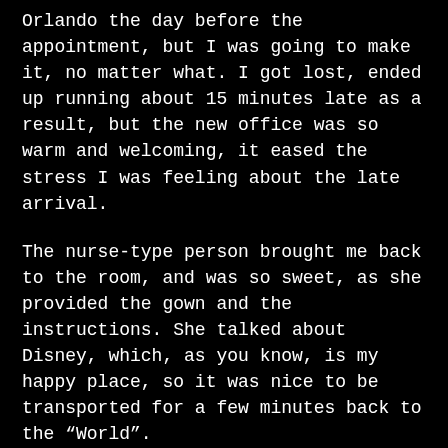Orlando the day before the appointment, but I was going to make it, no matter what. I got lost, ended up running about 15 minutes late as a result, but the new office was so warm and welcoming, it eased the stress I was feeling about the late arrival.
The nurse-type person brought me back to the room, and was so sweet, as she provided the gown and the instructions. She talked about Disney, which, as you know, is my happy place, so it was nice to be transported for a few minutes back to the “World”.
I knew, as soon as Dr. Veitia walked in, broad, beaming smile and warm handshake, that I had made the right decision in staying with this surgeon. There is just an aura of calm about him, and even through the awkward plus sized porn shots all plastic surgeons must take (well, not those that only operate on skinny women), I managed to stay collected. I hate having those photos taken.